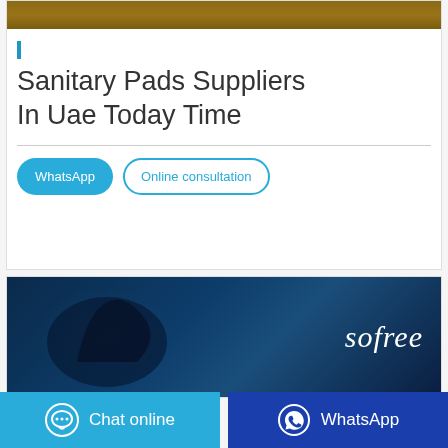[Figure (photo): Top edge of wooden texture photo, cropped]
Sanitary Pads Suppliers In Uae Today Time
WhatsApp | Online consultation (buttons)
[Figure (photo): Sofree brand banner — dark blue background with silhouette and 'sofree' text in white italic]
Chat online | WhatsApp (bottom bar buttons)